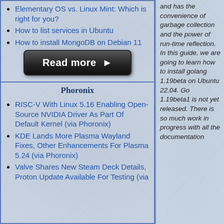Elementary OS vs. Linux Mint: Which is right for you?
How to list services in Ubuntu
How to install MongoDB on Debian 11
[Figure (other): Read more button - dark rounded rectangle button with white bold text 'Read more ►']
Phoronix
RISC-V With Linux 5.16 Enabling Open-Source NVIDIA Driver As Part Of Default Kernel (via Phoronix)
KDE Lands More Plasma Wayland Fixes, Other Enhancements For Plasma 5.24 (via Phoronix)
Valve Shares New Steam Deck Details, Proton Update Available For Testing (via
and has the convenience of garbage collection and the power of run-time reflection. In this guide, we are going to learn how to install golang 1.19beta on Ubuntu 22.04. Go 1.19beta1 is not yet released. There is so much work in progress with all the documentation